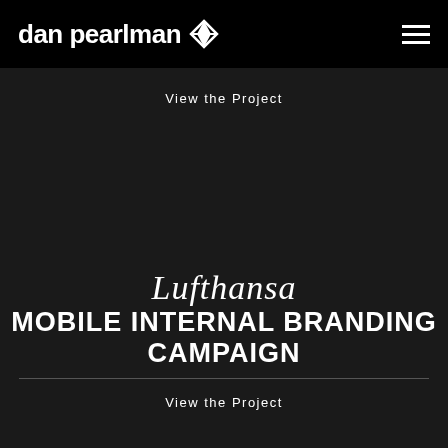dan pearlman [logo]
View the Project
Lufthansa MOBILE INTERNAL BRANDING CAMPAIGN
View the Project